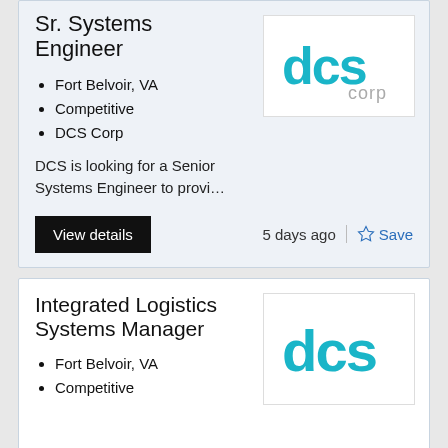Sr. Systems Engineer
Fort Belvoir, VA
Competitive
DCS Corp
DCS is looking for a Senior Systems Engineer to provi…
[Figure (logo): DCS Corp logo — teal 'dcs' lettering with 'corp' in gray below]
View details
5 days ago
Save
Integrated Logistics Systems Manager
Fort Belvoir, VA
Competitive
[Figure (logo): DCS Corp logo — teal 'dcs' lettering, partial view]